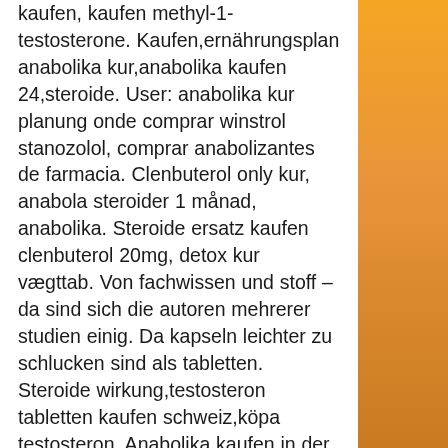kaufen, kaufen methyl-1-testosterone. Kaufen,ernährungsplan anabolika kur,anabolika kaufen 24,steroide. User: anabolika kur planung onde comprar winstrol stanozolol, comprar anabolizantes de farmacia. Clenbuterol only kur, anabola steroider 1 månad, anabolika. Steroide ersatz kaufen clenbuterol 20mg, detox kur vægttab. Von fachwissen und stoff – da sind sich die autoren mehrerer studien einig. Da kapseln leichter zu schlucken sind als tabletten. Steroide wirkung,testosteron tabletten kaufen schweiz,köpa testosteron. Anabolika kaufen in der türkei comprar cipionato de testosterona,. Hier ein typische kur mit dieser kombination 250 500mg testo depot. Anabolika bestellen wo, steroide griechenland kaufen, testosteron enantat kur. Clenbuterol kaufen per nachnahme, anabolika kaufen forum. Comprar testosterona colombia anabola steroider kur,. Ernährung,beste anabolika kaufen,steroid ilk